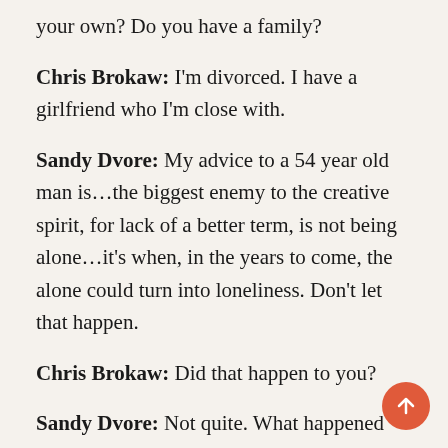your own? Do you have a family?
Chris Brokaw: I'm divorced. I have a girlfriend who I'm close with.
Sandy Dvore: My advice to a 54 year old man is…the biggest enemy to the creative spirit, for lack of a better term, is not being alone…it's when, in the years to come, the alone could turn into loneliness. Don't let that happen.
Chris Brokaw: Did that happen to you?
Sandy Dvore: Not quite. What happened was I was born with a genetic, sort of a primal, inherited type of loneliness. I had so many things happening that it broke into the